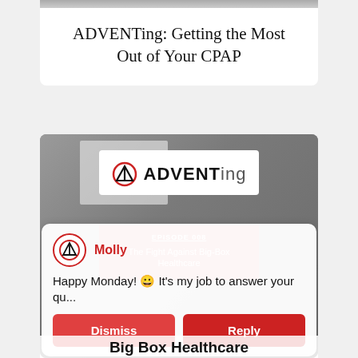[Figure (screenshot): Cropped photo strip at top of card showing people]
ADVENTing: Getting the Most Out of Your CPAP
[Figure (screenshot): ADVENTing podcast episode card - Episode 008 - The Fight Against Big-Box Healthcare, with logo overlay and chat popup from Molly saying 'Happy Monday! It's my job to answer your qu...' with Dismiss and Reply buttons]
Big Box Healthcare